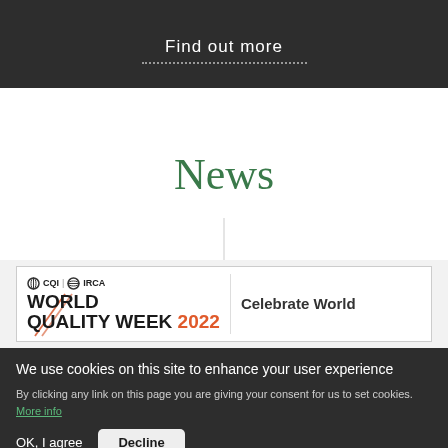Find out more
News
[Figure (screenshot): World Quality Week 2022 news card with CQI | IRCA logo and 'Celebrate World' text]
We use cookies on this site to enhance your user experience
By clicking any link on this page you are giving your consent for us to set cookies. More info
OK, I agree
Decline